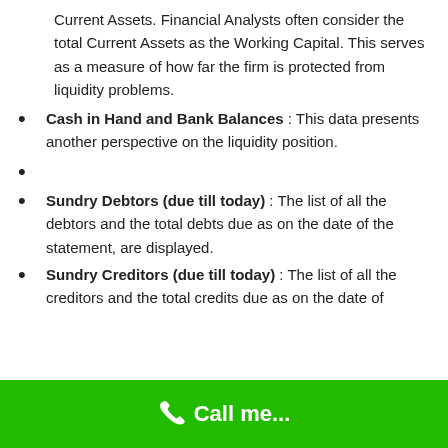Current Assets. Financial Analysts often consider the total Current Assets as the Working Capital. This serves as a measure of how far the firm is protected from liquidity problems.
Cash in Hand and Bank Balances : This data presents another perspective on the liquidity position.
Sundry Debtors (due till today) : The list of all the debtors and the total debts due as on the date of the statement, are displayed.
Sundry Creditors (due till today) : The list of all the creditors and the total credits due as on the date of
Call me...